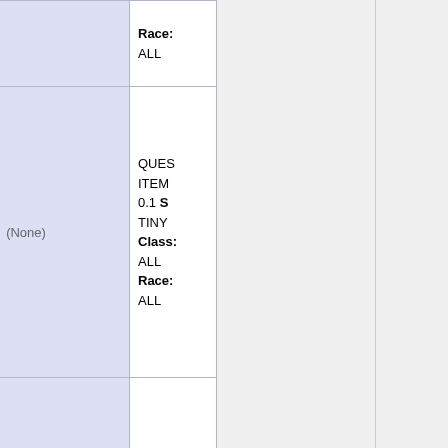| Item Name | Dropped By | Slot | Info |
| --- | --- | --- | --- |
|  |  |  | Race:
ALL |
| Putrid Bile | a fire drake | (None) | QUEST
ITEM
0.1 S
TINY
Class:
ALL
Race:
ALL |
| Runner Pouch | goblin runner | (None) | LORE
ITEM
DROP
WT: 2
Size:
MEDI
Class:
ALL
Race:
ALL |
| Second Riddle for the Troll | a fire drake | (None) | WT: 0
Size:
TINY |